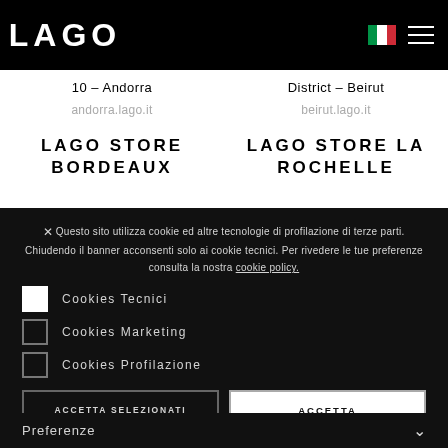[Figure (logo): LAGO logo — white text on black background square]
10 – Andorra
andorra.lago.it
District – Beirut
beirut.lago.it
LAGO STORE BORDEAUX
LAGO STORE LA ROCHELLE
Questo sito utilizza cookie ed altre tecnologie di profilazione di terze parti. Chiudendo il banner acconsenti solo ai cookie tecnici. Per rivedere le tue preferenze consulta la nostra cookie policy.
Cookies Tecnici
Cookies Marketing
Cookies Profilazione
ACCETTA SELEZIONATI
ACCETTA
Preferenze